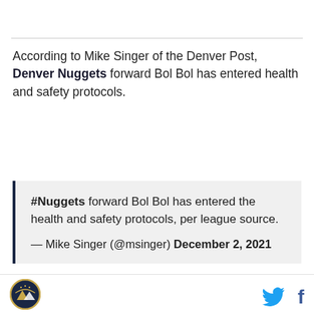According to Mike Singer of the Denver Post, Denver Nuggets forward Bol Bol has entered health and safety protocols.
#Nuggets forward Bol Bol has entered the health and safety protocols, per league source.
— Mike Singer (@msinger) December 2, 2021
Bol joins Bones Hyland and Austin Rivers among
[Figure (logo): Denver Nuggets circular logo]
Twitter and Facebook share icons